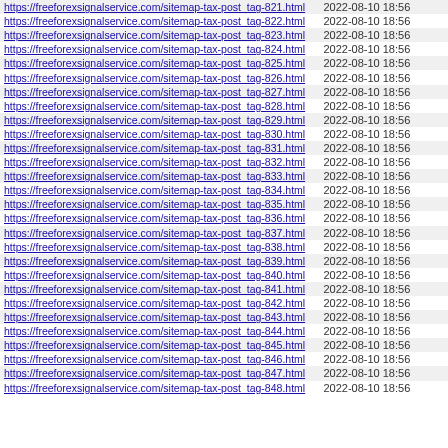| https://freeforexsignalservice.com/sitemap-tax-post_tag-821.html | 2022-08-10 18:56 |
| https://freeforexsignalservice.com/sitemap-tax-post_tag-822.html | 2022-08-10 18:56 |
| https://freeforexsignalservice.com/sitemap-tax-post_tag-823.html | 2022-08-10 18:56 |
| https://freeforexsignalservice.com/sitemap-tax-post_tag-824.html | 2022-08-10 18:56 |
| https://freeforexsignalservice.com/sitemap-tax-post_tag-825.html | 2022-08-10 18:56 |
| https://freeforexsignalservice.com/sitemap-tax-post_tag-826.html | 2022-08-10 18:56 |
| https://freeforexsignalservice.com/sitemap-tax-post_tag-827.html | 2022-08-10 18:56 |
| https://freeforexsignalservice.com/sitemap-tax-post_tag-828.html | 2022-08-10 18:56 |
| https://freeforexsignalservice.com/sitemap-tax-post_tag-829.html | 2022-08-10 18:56 |
| https://freeforexsignalservice.com/sitemap-tax-post_tag-830.html | 2022-08-10 18:56 |
| https://freeforexsignalservice.com/sitemap-tax-post_tag-831.html | 2022-08-10 18:56 |
| https://freeforexsignalservice.com/sitemap-tax-post_tag-832.html | 2022-08-10 18:56 |
| https://freeforexsignalservice.com/sitemap-tax-post_tag-833.html | 2022-08-10 18:56 |
| https://freeforexsignalservice.com/sitemap-tax-post_tag-834.html | 2022-08-10 18:56 |
| https://freeforexsignalservice.com/sitemap-tax-post_tag-835.html | 2022-08-10 18:56 |
| https://freeforexsignalservice.com/sitemap-tax-post_tag-836.html | 2022-08-10 18:56 |
| https://freeforexsignalservice.com/sitemap-tax-post_tag-837.html | 2022-08-10 18:56 |
| https://freeforexsignalservice.com/sitemap-tax-post_tag-838.html | 2022-08-10 18:56 |
| https://freeforexsignalservice.com/sitemap-tax-post_tag-839.html | 2022-08-10 18:56 |
| https://freeforexsignalservice.com/sitemap-tax-post_tag-840.html | 2022-08-10 18:56 |
| https://freeforexsignalservice.com/sitemap-tax-post_tag-841.html | 2022-08-10 18:56 |
| https://freeforexsignalservice.com/sitemap-tax-post_tag-842.html | 2022-08-10 18:56 |
| https://freeforexsignalservice.com/sitemap-tax-post_tag-843.html | 2022-08-10 18:56 |
| https://freeforexsignalservice.com/sitemap-tax-post_tag-844.html | 2022-08-10 18:56 |
| https://freeforexsignalservice.com/sitemap-tax-post_tag-845.html | 2022-08-10 18:56 |
| https://freeforexsignalservice.com/sitemap-tax-post_tag-846.html | 2022-08-10 18:56 |
| https://freeforexsignalservice.com/sitemap-tax-post_tag-847.html | 2022-08-10 18:56 |
| https://freeforexsignalservice.com/sitemap-tax-post_tag-848.html | 2022-08-10 18:56 |